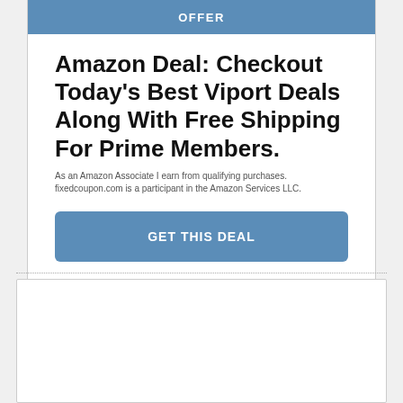OFFER
Amazon Deal: Checkout Today's Best Viport Deals Along With Free Shipping For Prime Members.
As an Amazon Associate I earn from qualifying purchases. fixedcoupon.com is a participant in the Amazon Services LLC.
GET THIS DEAL